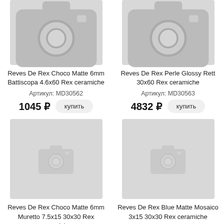[Figure (photo): Product placeholder image for Reves De Rex Choco Matte 6mm Battiscopa]
Reves De Rex Choco Matte 6mm Battiscopa 4.6x60 Rex ceramiche
Артикул: MD30562
1045 ₽
[Figure (photo): Product placeholder image for Reves De Rex Perle Glossy Rett]
Reves De Rex Perle Glossy Rett 30x60 Rex ceramiche
Артикул: MD30563
4832 ₽
[Figure (photo): Product placeholder image for Reves De Rex Choco Matte 6mm Muretto]
Reves De Rex Choco Matte 6mm Muretto 7.5x15 30x30 Rex ceramiche
Артикул: MD30564
[Figure (photo): Product placeholder image for Reves De Rex Blue Matte Mosaico]
Reves De Rex Blue Matte Mosaico 3x15 30x30 Rex ceramiche
Артикул: MD30565